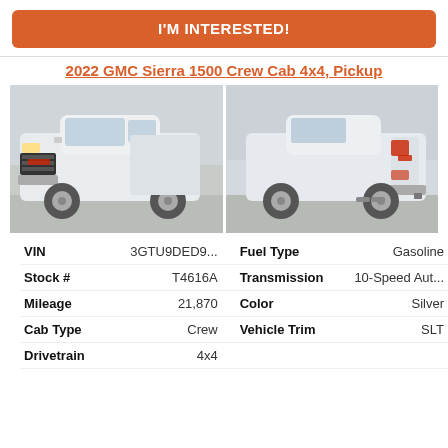I'M INTERESTED!
2022 GMC Sierra 1500 Crew Cab 4x4, Pickup
[Figure (photo): Front 3/4 view of a white 2022 GMC Sierra 1500 pickup truck at a dealership]
[Figure (photo): Rear 3/4 view of a white 2022 GMC Sierra 1500 pickup truck at a dealership]
| VIN | 3GTU9DED9... | Fuel Type | Gasoline |
| Stock # | T4616A | Transmission | 10-Speed Aut... |
| Mileage | 21,870 | Color | Silver |
| Cab Type | Crew | Vehicle Trim | SLT |
| Drivetrain | 4x4 |  |  |